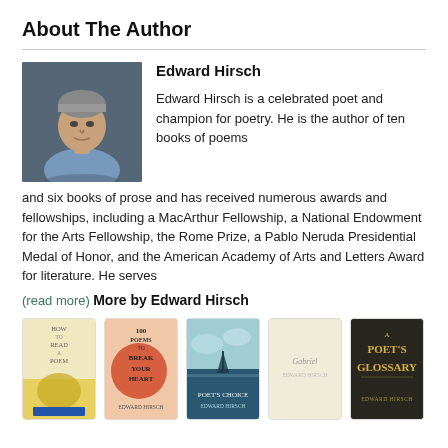About The Author
Edward Hirsch

Edward Hirsch is a celebrated poet and champion for poetry. He is the author of ten books of poems and six books of prose and has received numerous awards and fellowships, including a MacArthur Fellowship, a National Endowment for the Arts Fellowship, the Rome Prize, a Pablo Neruda Presidential Medal of Honor, and the American Academy of Arts and Letters Award for literature. He serves
(read more)
More by Edward Hirsch
[Figure (illustration): Row of five book covers by Edward Hirsch: How to Read a Poem, 100 Poems to Break Your Heart, Poet's Choice, Gabriel (beige cover), A Poet's Glossary (dark cover)]